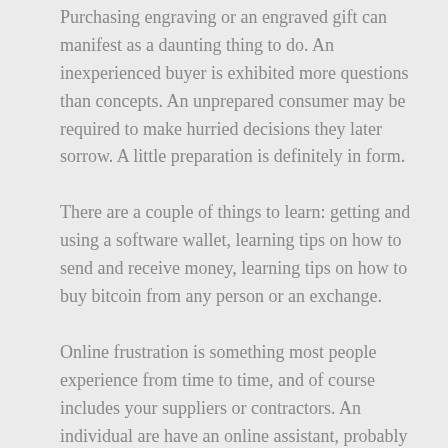Purchasing engraving or an engraved gift can manifest as a daunting thing to do. An inexperienced buyer is exhibited more questions than concepts. An unprepared consumer may be required to make hurried decisions they later sorrow. A little preparation is definitely in form.
There are a couple of things to learn: getting and using a software wallet, learning tips on how to send and receive money, learning tips on how to buy bitcoin from any person or an exchange.
Online frustration is something most people experience from time to time, and of course includes your suppliers or contractors. An individual are have an online assistant, probably know this first bitcoin hand. The other time you, a colleague or assistant experiences frustration with technology, suggest they “change channels”.